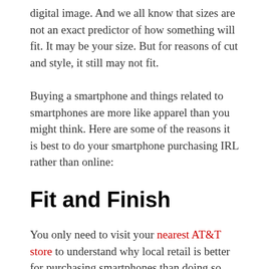digital image. And we all know that sizes are not an exact predictor of how something will fit. It may be your size. But for reasons of cut and style, it still may not fit.
Buying a smartphone and things related to smartphones are more like apparel than you might think. Here are some of the reasons it is best to do your smartphone purchasing IRL rather than online:
Fit and Finish
You only need to visit your nearest AT&T store to understand why local retail is better for purchasing smartphones than doing so online. For starters, you get a true sense of the